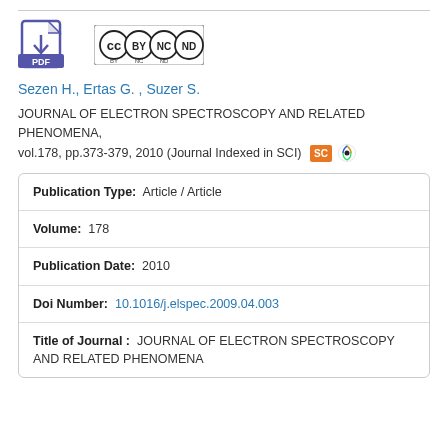[Figure (logo): PDF download icon and Creative Commons BY-NC-ND license badge]
Sezen H., Ertas G. , Suzer S.
JOURNAL OF ELECTRON SPECTROSCOPY AND RELATED PHENOMENA, vol.178, pp.373-379, 2010 (Journal Indexed in SCI)
| Publication Type: | Article / Article |
| Volume: | 178 |
| Publication Date: | 2010 |
| Doi Number: | 10.1016/j.elspec.2009.04.003 |
| Title of Journal : | JOURNAL OF ELECTRON SPECTROSCOPY AND RELATED PHENOMENA |